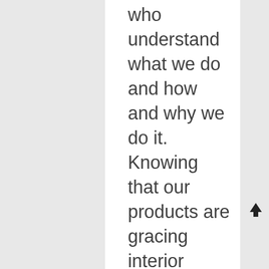who understand what we do and how and why we do it. Knowing that our products are gracing interior spaces all over the world gives us a warm glow of satisfaction. Professional respect in a mutually beneficial relationship makes everyone feel good. Both Nicolas of Boxx Creative (Nicola Keenan and Nicola Lindsell) understood Made by the Forge's spirit immediately. Our work and commitment to both excellence and the environment complemented their own design philosophy to a tee. One look at Boxx Creative's project page tells you all you need to know about the company's skill, creative flair and